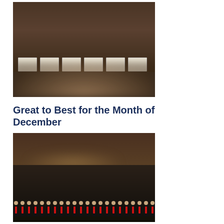[Figure (photo): Group photo of multiple people holding certificates/papers, standing in front of a flag in an indoor meeting room.]
Great to Best for the Month of December
[Figure (photo): Group photo of young women wearing black jackets with red lanyards/medals, standing in rows in an indoor venue.]